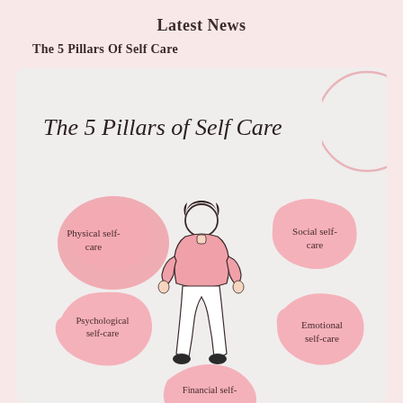Latest News
The 5 Pillars Of Self Care
[Figure (infographic): Infographic titled 'The 5 Pillars of Self Care' showing a line-drawn woman in a pink top and white pants surrounded by five pink blob shapes labeled: Physical self-care (upper left), Social self-care (upper right), Psychological self-care (lower left), Emotional self-care (lower right), Financial self- (bottom center, partially cut off). A decorative pink partial circle appears in the upper right corner.]